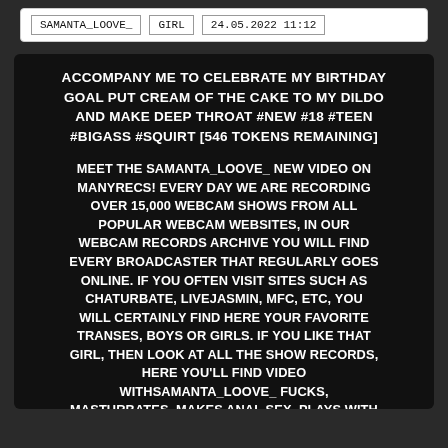| SAMANTA_LOOVE_ | GIRL | 24.05.2022 11:12 |
ACCOMPANY ME TO CELEBRATE MY BIRTHDAY GOAL PUT CREAM OF THE CAKE TO MY DILDO AND MAKE DEEP THROAT #NEW #18 #TEEN #BIGASS #SQUIRT [546 TOKENS REMAINING]
MEET THE SAMANTA_LOOVE_ NEW VIDEO ON MANYRECS! EVERY DAY WE ARE RECORDING OVER 15,000 WEBCAM SHOWS FROM ALL POPULAR WEBCAM WEBSITES, IN OUR WEBCAM RECORDS ARCHIVE YOU WILL FIND EVERY BROADCASTER THAT REGULARLY GOES ONLINE. IF YOU OFTEN VISIT SITES SUCH AS CHATURBATE, LIVEJASMIN, MFC, ETC, YOU WILL CERTAINLY FIND HERE YOUR FAVORITE TRANSES, BOYS OR GIRLS. IF YOU LIKE THAT GIRL, THEN LOOK AT ALL THE SHOW RECORDS, HERE YOU'LL FIND VIDEO WITHSAMANTA_LOOVE_ FUCKS, MASTURBATES, MAKES ANAL SEX, PLAYS WITH